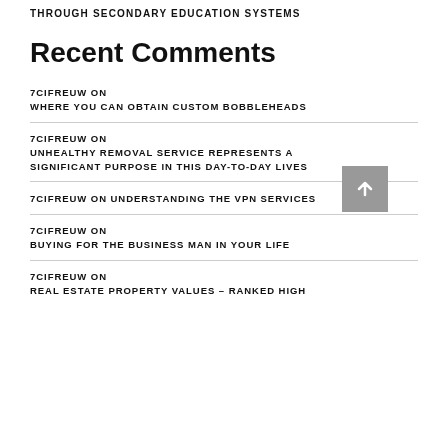THROUGH SECONDARY EDUCATION SYSTEMS
Recent Comments
7CIFREUW ON WHERE YOU CAN OBTAIN CUSTOM BOBBLEHEADS
7CIFREUW ON UNHEALTHY REMOVAL SERVICE REPRESENTS A SIGNIFICANT PURPOSE IN THIS DAY-TO-DAY LIVES
7CIFREUW ON UNDERSTANDING THE VPN SERVICES
7CIFREUW ON BUYING FOR THE BUSINESS MAN IN YOUR LIFE
7CIFREUW ON REAL ESTATE PROPERTY VALUES – RANKED HIGH